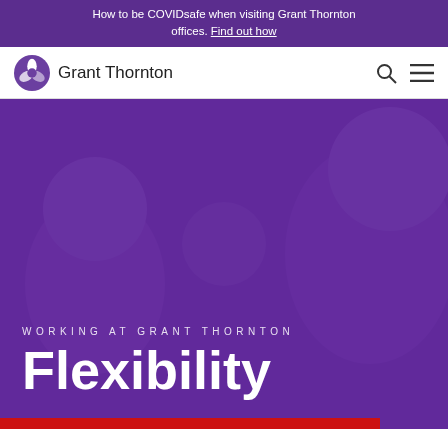How to be COVIDsafe when visiting Grant Thornton offices. Find out how
[Figure (logo): Grant Thornton logo with purple pinwheel icon and wordmark]
[Figure (photo): Hero image of smiling people (man, woman, child) with purple overlay showing 'WORKING AT GRANT THORNTON' label and 'Flexibility' heading, with red bar at bottom]